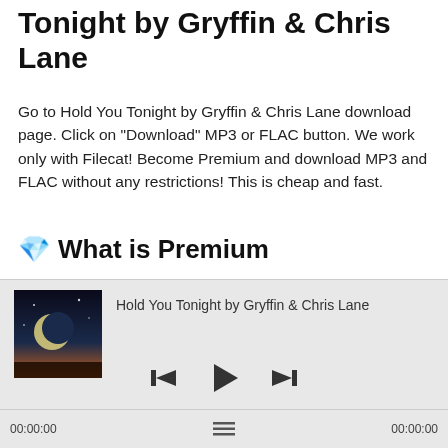How to Download Hold You Tonight by Gryffin & Chris Lane
Go to Hold You Tonight by Gryffin & Chris Lane download page. Click on "Download" MP3 or FLAC button. We work only with Filecat! Become Premium and download MP3 and FLAC without any restrictions! This is cheap and fast.
💎 What is Premium
We work only with Filecat. After becoming Premium you can download any without restrictions. We regularly release both new and top music releases in the best quality - MP3
[Figure (screenshot): Music player widget showing album art for Hold You Tonight by Gryffin & Chris Lane with playback controls (previous, play, next) and time display 00:00:00 on both sides]